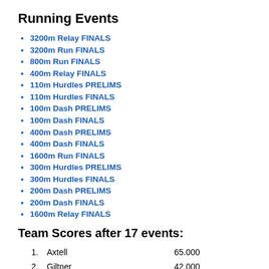Running Events
3200m Relay FINALS
3200m Run FINALS
800m Run FINALS
400m Relay FINALS
110m Hurdles PRELIMS
110m Hurdles FINALS
100m Dash PRELIMS
100m Dash FINALS
400m Dash PRELIMS
400m Dash FINALS
1600m Run FINALS
300m Hurdles PRELIMS
300m Hurdles FINALS
200m Dash PRELIMS
200m Dash FINALS
1600m Relay FINALS
Team Scores after 17 events:
| Rank | Team | Score |
| --- | --- | --- |
| 1. | Axtell | 65.000 |
| 2. | Giltner | 42.000 |
| 3. | North Central | 41.000 |
| 4. | Mullen | 33.000 |
| 5. | Boyd County | 32.000 |
| 6. | Sterling | 27.000 |